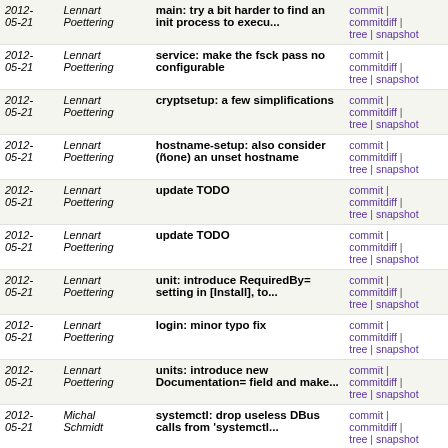| Date | Author | Commit Message | Links |
| --- | --- | --- | --- |
| 2012-05-21 | Lennart Poettering | main: try a bit harder to find an init process to execu... | commit | commitdiff | tree | snapshot |
| 2012-05-21 | Lennart Poettering | service: make the fsck pass no configurable | commit | commitdiff | tree | snapshot |
| 2012-05-21 | Lennart Poettering | cryptsetup: a few simplifications | commit | commitdiff | tree | snapshot |
| 2012-05-21 | Lennart Poettering | hostname-setup: also consider (ñone) an unset hostname | commit | commitdiff | tree | snapshot |
| 2012-05-21 | Lennart Poettering | update TODO | commit | commitdiff | tree | snapshot |
| 2012-05-21 | Lennart Poettering | update TODO | commit | commitdiff | tree | snapshot |
| 2012-05-21 | Lennart Poettering | unit: introduce RequiredBy= setting in [Install], to... | commit | commitdiff | tree | snapshot |
| 2012-05-21 | Lennart Poettering | login: minor typo fix | commit | commitdiff | tree | snapshot |
| 2012-05-21 | Lennart Poettering | units: introduce new Documentation= field and make... | commit | commitdiff | tree | snapshot |
| 2012-05-21 | Michal Schmidt | systemctl: drop useless DBus calls from 'systemctl... | commit | commitdiff | tree | snapshot |
| 2012-05-21 | Michal Schmidt | dbus-unit: always load the unit before handling a messa... | commit | commitdiff | tree | snapshot |
| 2012-05-21 | Lennart Poettering | delta: drop PHP'ism | commit | commitdiff | tree | snapshot |
| 2012-05-21 | Lennart | delta: don't highlight | commit | commitdiff |